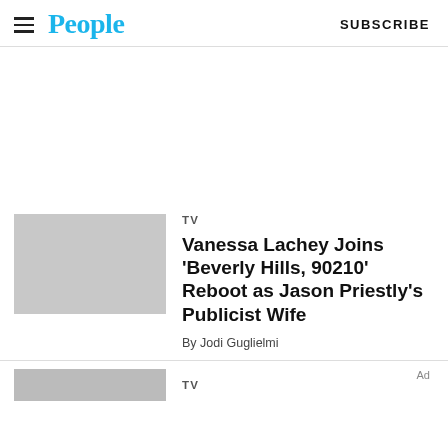People | SUBSCRIBE
[Figure (other): Gray placeholder rectangle for article thumbnail image]
TV
Vanessa Lachey Joins 'Beverly Hills, 90210' Reboot as Jason Priestly's Publicist Wife
By Jodi Guglielmi
[Figure (photo): Partial thumbnail of next article below the divider]
TV
Ad